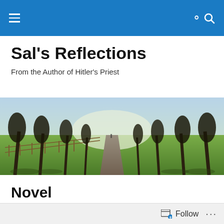Navigation bar with hamburger menu and search icon
Sal's Reflections
From the Author of Hitler's Priest
[Figure (photo): A tree-lined path or avenue receding into the distance, with sunlight filtering through bare winter trees and a wooden fence on the left side]
Novel
Michael's world had been changed for the better over the last year. He had become emeritus at the University of
Follow ...